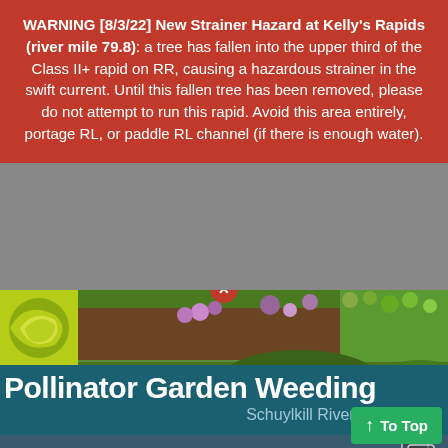WARNING [8/3/22] New Strainer Hazard at Kelly's Rapids (river mile 79.8): a tree has fallen into the upper third of the Class II+ rapid on RR, causing a hazardous strainer in the swift current. Until this fallen tree has been removed, please do not attempt to run this rapid. Avoid this area entirely, portage RL, or paddle RL channel (if there is enough water).
[Figure (photo): Photo of a pollinator garden with flowers, soil, and green foliage. A yellow-green logo block is visible at the top-left corner. Below is a teal banner reading 'Pollinator Garden Weeding' and 'Schuylkill River Greenways'.]
[Figure (photo): Photo of colorful kayaks (teal, blue, green) parked near a calm river with reflections. Buildings and trees visible in the background.]